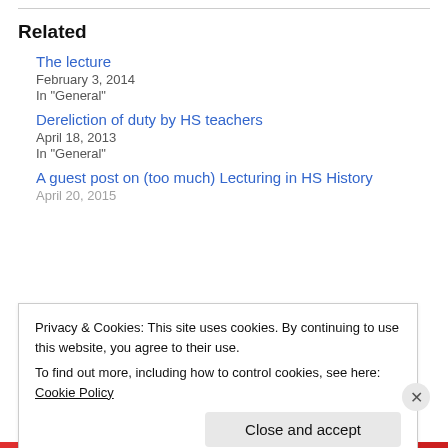Related
The lecture
February 3, 2014
In "General"
Dereliction of duty by HS teachers
April 18, 2013
In "General"
A guest post on (too much) Lecturing in HS History
April 20, 2015
Privacy & Cookies: This site uses cookies. By continuing to use this website, you agree to their use.
To find out more, including how to control cookies, see here: Cookie Policy
Close and accept